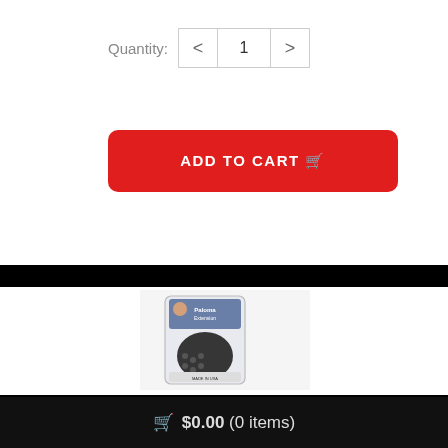Quantity: 1
ADD TO CART
[Figure (photo): Product package photo of an adult novelty item in clear plastic packaging with branding label]
$0.00 (0 items)